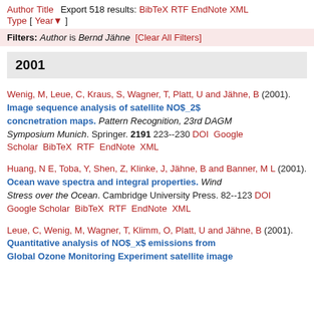Author Title  Export 518 results: BibTeX RTF EndNote XML
Type [ Year ]
Filters: Author is Bernd Jähne [Clear All Filters]
2001
Wenig, M, Leue, C, Kraus, S, Wagner, T, Platt, U and Jähne, B (2001). Image sequence analysis of satellite NO$_2$ concnetration maps. Pattern Recognition, 23rd DAGM Symposium Munich. Springer. 2191 223--230 DOI Google Scholar BibTeX RTF EndNote XML
Huang, N E, Toba, Y, Shen, Z, Klinke, J, Jähne, B and Banner, M L (2001). Ocean wave spectra and integral properties. Wind Stress over the Ocean. Cambridge University Press. 82--123 DOI Google Scholar BibTeX RTF EndNote XML
Leue, C, Wenig, M, Wagner, T, Klimm, O, Platt, U and Jähne, B (2001). Quantitative analysis of NO$_x$ emissions from Global Ozone Monitoring Experiment satellite image